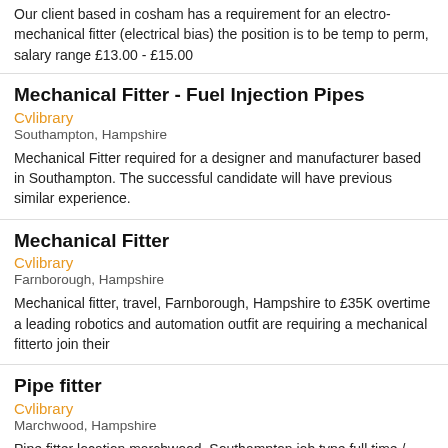Our client based in cosham has a requirement for an electro-mechanical fitter (electrical bias) the position is to be temp to perm, salary range £13.00 - £15.00
Mechanical Fitter - Fuel Injection Pipes
Cvlibrary
Southampton, Hampshire
Mechanical Fitter required for a designer and manufacturer based in Southampton. The successful candidate will have previous similar experience.
Mechanical Fitter
Cvlibrary
Farnborough, Hampshire
Mechanical fitter, travel, Farnborough, Hampshire to £35K overtime a leading robotics and automation outfit are requiring a mechanical fitterto join their
Pipe fitter
Cvlibrary
Marchwood, Hampshire
Pipe fitter location marchwood, Southampton job type full time / permanent pay - £16-£18ph red chilli are looking an experienced pipe fitter to work for our well
Aircraft Fitter